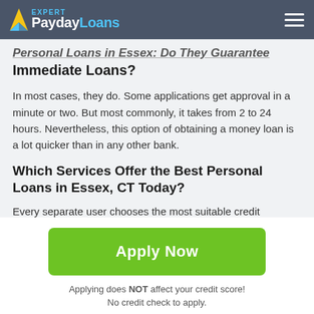PaydayLoans Expert
Personal Loans in Essex: Do They Guarantee Immediate Loans?
In most cases, they do. Some applications get approval in a minute or two. But most commonly, it takes from 2 to 24 hours. Nevertheless, this option of obtaining a money loan is a lot quicker than in any other bank.
Which Services Offer the Best Personal Loans in Essex, CT Today?
Every separate user chooses the most suitable credit
Apply Now
Applying does NOT affect your credit score!
No credit check to apply.